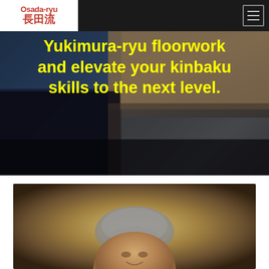Osada-ryu 長田流
Yukimura-ryu floorwork and elevate your kinbaku skills to the next level.
[Figure (photo): Portrait photo of an elderly Japanese man smiling, with grey hair, against a warm golden-brown background]
[Figure (photo): Hero background image showing hands working with rope (kinbaku/shibari) against a dark background]